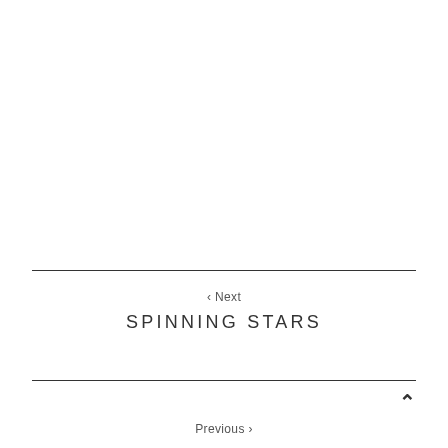< Next
SPINNING STARS
Previous >